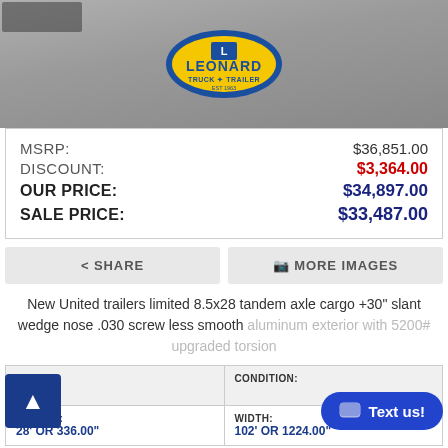[Figure (photo): Partial photo of a trailer with Leonard Truck & Trailer logo/badge visible on gravel surface]
MSRP: $36,851.00
DISCOUNT: $3,364.00
OUR PRICE: $34,897.00
SALE PRICE: $33,487.00
< SHARE
MORE IMAGES
New United trailers limited 8.5x28 tandem axle cargo +30" slant wedge nose .030 screw less smooth aluminum exterior with 5200# upgraded torsion
| #: | CONDITION: |
| --- | --- |
| 39060 |  |
| 28' OR 336.00" | 102' OR 1224.00" |
LENGTH: 28' OR 336.00"
WIDTH: 102' OR 1224.00"